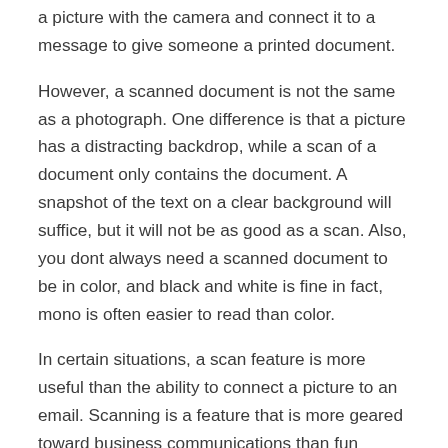a picture with the camera and connect it to a message to give someone a printed document.
However, a scanned document is not the same as a photograph. One difference is that a picture has a distracting backdrop, while a scan of a document only contains the document. A snapshot of the text on a clear background will suffice, but it will not be as good as a scan. Also, you dont always need a scanned document to be in color, and black and white is fine in fact, mono is often easier to read than color.
In certain situations, a scan feature is more useful than the ability to connect a picture to an email. Scanning is a feature that is more geared toward business communications than fun messages between friends, but if you use your iPhone for work email, it can come in handy.